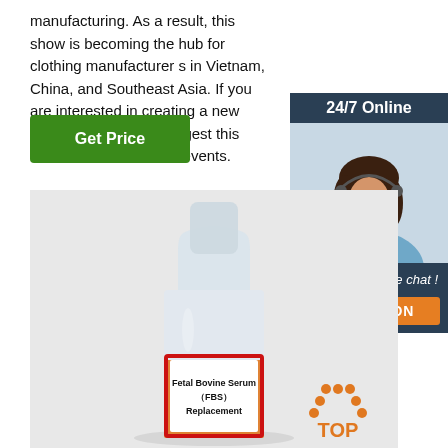manufacturing. As a result, this show is becoming the hub for clothing manufacturer s in Vietnam, China, and Southeast Asia. If you are interested in creating a new clothing line, then I suggest this even and its two sister events.
[Figure (other): Green 'Get Price' button]
[Figure (other): Advertisement box: '24/7 Online' header, photo of woman with headset, 'Click here for free chat!' text, orange 'QUOTATION' button]
[Figure (photo): Photo of a bottle of Fetal Bovine Serum (FBS) Replacement with orange liquid, white label with red border, on white/gray background. Bottom right shows a 'TOP' logo with orange dots.]